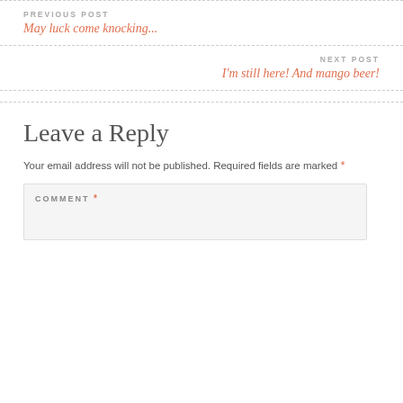PREVIOUS POST
May luck come knocking...
NEXT POST
I'm still here! And mango beer!
Leave a Reply
Your email address will not be published. Required fields are marked *
COMMENT *